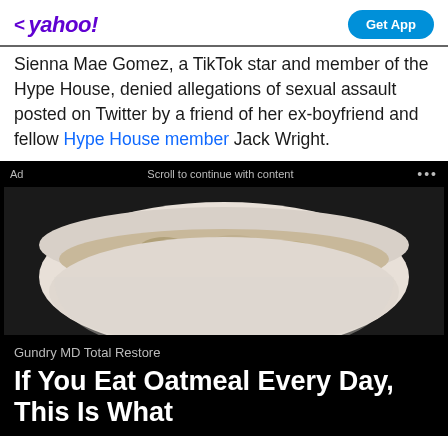< yahoo!  Get App
Sienna Mae Gomez, a TikTok star and member of the Hype House, denied allegations of sexual assault posted on Twitter by a friend of her ex-boyfriend and fellow Hype House member Jack Wright.
Ad  Scroll to continue with content  ...
[Figure (photo): A white bowl filled with cooked oatmeal, viewed from above, on a white/grey background.]
Gundry MD Total Restore
If You Eat Oatmeal Every Day, This Is What